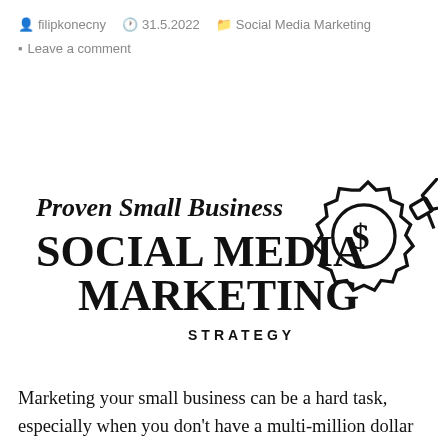filipkonecny   31.5.2022   Social Media Marketing
Leave a comment
[Figure (illustration): Title graphic for 'Proven Small Business Social Media Marketing Strategy' with a gear/dollar-sign megaphone icon on the right]
Marketing your small business can be a hard task, especially when you don't have a multi-million dollar